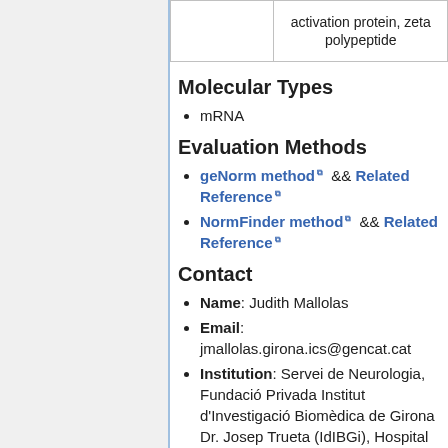|  |  |
| --- | --- |
|  | activation protein, zeta polypeptide |
Molecular Types
mRNA
Evaluation Methods
geNorm method && Related Reference
NormFinder method && Related Reference
Contact
Name: Judith Mallolas
Email: jmallolas.girona.ics@gencat.cat
Institution: Servei de Neurologia, Fundació Privada Institut d'Investigació Biomèdica de Girona Dr. Josep Trueta (IdIBGi), Hospital